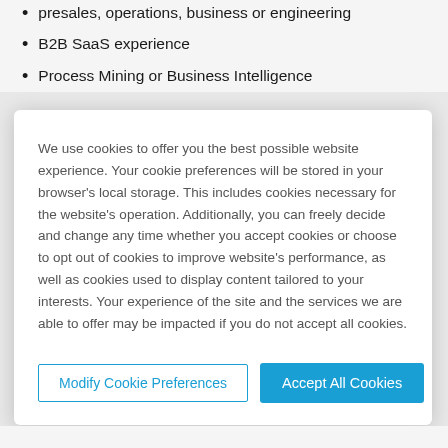presales, operations, business or engineering
B2B SaaS experience
Process Mining or Business Intelligence
We use cookies to offer you the best possible website experience. Your cookie preferences will be stored in your browser's local storage. This includes cookies necessary for the website's operation. Additionally, you can freely decide and change any time whether you accept cookies or choose to opt out of cookies to improve website's performance, as well as cookies used to display content tailored to your interests. Your experience of the site and the services we are able to offer may be impacted if you do not accept all cookies.
Modify Cookie Preferences
Accept All Cookies